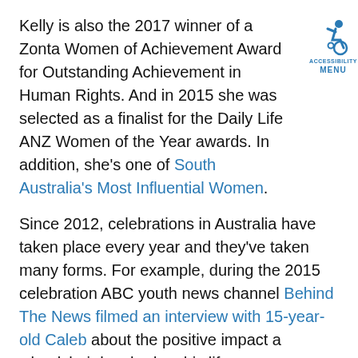Kelly is also the 2017 winner of a Zonta Women of Achievement Award for Outstanding Achievement in Human Rights. And in 2015 she was selected as a finalist for the Daily Life ANZ Women of the Year awards. In addition, she's one of South Australia's Most Influential Women.
[Figure (logo): Accessibility Menu icon showing a wheelchair user symbol in blue with text 'ACCESSIBILITY' and 'MENU' below]
Since 2012, celebrations in Australia have taken place every year and they've taken many forms. For example, during the 2015 celebration ABC youth news channel Behind The News filmed an interview with 15-year-old Caleb about the positive impact a wheelchair has had on his life.
COVID-19 and International Wheelchair Day
Blue Badge asked Steve about this year's celebrations. He says, "The constraints the COVID-19 pandemic has imposed on people around the World in the last year will